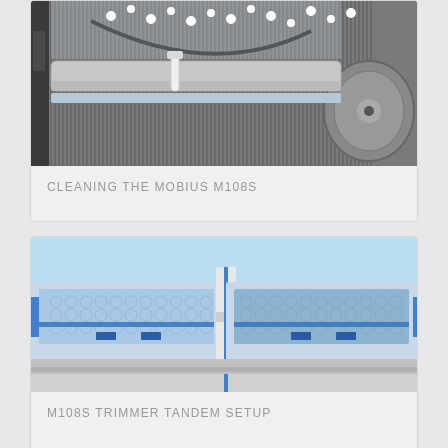[Figure (photo): Close-up photo of the Mobius M108S machine components showing rollers and internal parts being cleaned, with a black cable visible]
CLEANING THE MOBIUS M108S
[Figure (photo): Photo of M108S trimmer in tandem setup showing two trimmer units side by side in blue light, with a white central divider piece connecting them]
M108S TRIMMER TANDEM SETUP